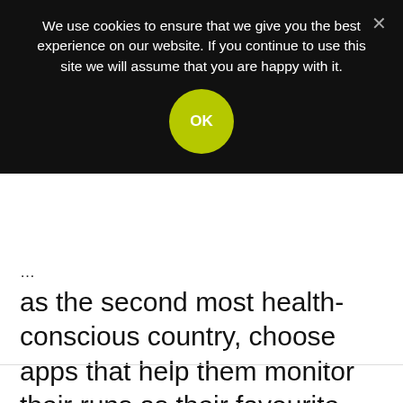We use cookies to ensure that we give you the best experience on our website. If you continue to use this site we will assume that you are happy with it.
OK
as the second most health-conscious country, choose apps that help them monitor their runs as their favourite, choosing Nike Run Club to help track themselves.